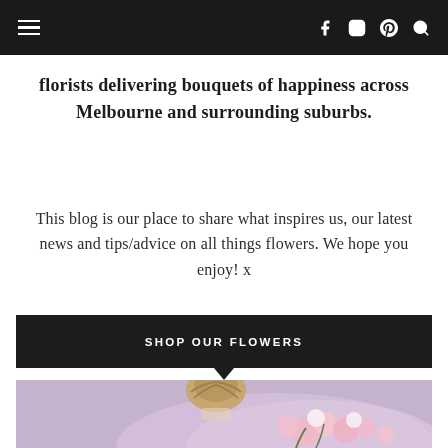Navigation bar with hamburger menu and social icons (Facebook, Instagram, Pinterest, Search)
florists delivering bouquets of happiness across Melbourne and surrounding suburbs.
This blog is our place to share what inspires us, our latest news and tips/advice on all things flowers. We hope you enjoy! x
SHOP OUR FLOWERS
[Figure (photo): A person seen from behind holding a large bouquet of pink and white flowers wrapped in purple/lavender paper]